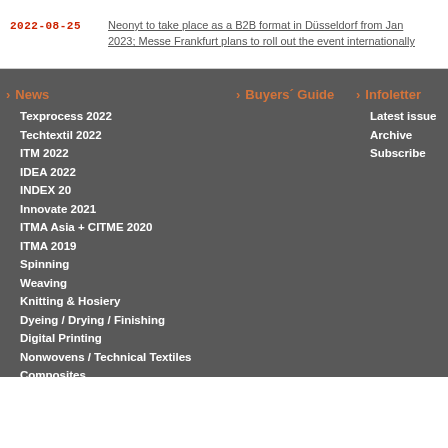2022-08-25  Neonyt to take place as a B2B format in Düsseldorf from Jan 2023; Messe Frankfurt plans to roll out the event internationally
News
Texprocess 2022
Techtextil 2022
ITM 2022
IDEA 2022
INDEX 20
Innovate 2021
ITMA Asia + CITME 2020
ITMA 2019
Spinning
Weaving
Knitting & Hosiery
Dyeing / Drying / Finishing
Digital Printing
Nonwovens / Technical Textiles
Composites
Textile chemistry
Sustainability
Yarn & Fiber
Buyers' Guide
Infoletter
Latest issue
Archive
Subscribe